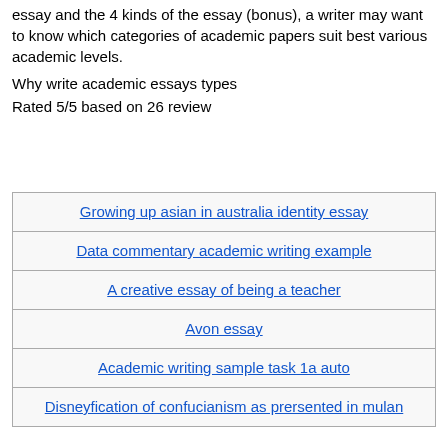essay and the 4 kinds of the essay (bonus), a writer may want to know which categories of academic papers suit best various academic levels.
Why write academic essays types
Rated 5/5 based on 26 review
| Growing up asian in australia identity essay |
| Data commentary academic writing example |
| A creative essay of being a teacher |
| Avon essay |
| Academic writing sample task 1a auto |
| Disneyfication of confucianism as prersented in mulan |